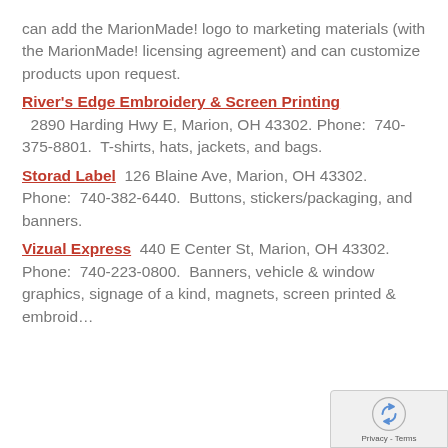can add the MarionMade! logo to marketing materials (with the MarionMade! licensing agreement) and can customize products upon request.
River's Edge Embroidery & Screen Printing  2890 Harding Hwy E, Marion, OH 43302.  Phone:  740-375-8801.  T-shirts, hats, jackets, and bags.
Storad Label  126 Blaine Ave, Marion, OH 43302.  Phone:  740-382-6440.  Buttons, stickers/packaging, and banners.
Vizual Express  440 E Center St, Marion, OH 43302.  Phone:  740-223-0800.  Banners, vehicle & window graphics, signage of all kind, magnets, screen printed & embroid...